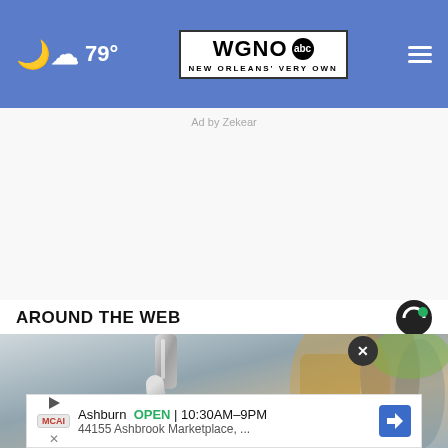☁ 79° | WGNO ABC New Orleans' Very Own | ≡
Ad by Zekear
AROUND THE WEB
[Figure (photo): Kitchen faucet filling a glass of water, close-up shot with blurred background of kitchen appliances]
Ashburn OPEN | 10:30AM–9PM
44155 Ashbrook Marketplace, ...